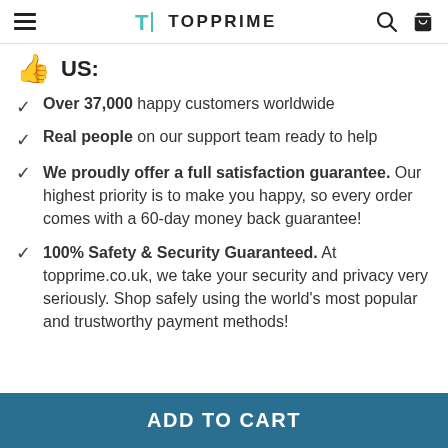TOPPRIME
US:
Over 37,000 happy customers worldwide
Real people on our support team ready to help
We proudly offer a full satisfaction guarantee. Our highest priority is to make you happy, so every order comes with a 60-day money back guarantee!
100% Safety & Security Guaranteed. At topprime.co.uk, we take your security and privacy very seriously. Shop safely using the world's most popular and trustworthy payment methods!
ADD TO CART